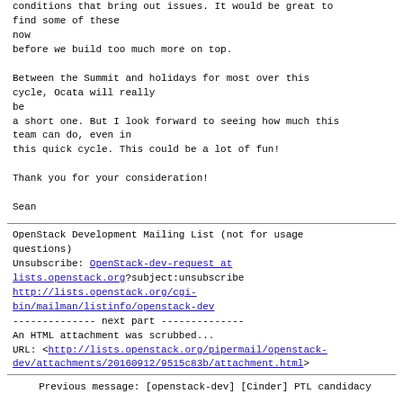conditions that bring out issues. It would be great to find some of these
now
before we build too much more on top.

Between the Summit and holidays for most over this cycle, Ocata will really
be
a short one. But I look forward to seeing how much this team can do, even in
this quick cycle. This could be a lot of fun!

Thank you for your consideration!

Sean
OpenStack Development Mailing List (not for usage questions)
Unsubscribe: OpenStack-dev-request at lists.openstack.org?subject:unsubscribe
http://lists.openstack.org/cgi-bin/mailman/listinfo/openstack-dev
-------------- next part --------------
An HTML attachment was scrubbed...
URL: <http://lists.openstack.org/pipermail/openstack-dev/attachments/20160912/9515c83b/attachment.html>
Previous message: [openstack-dev] [Cinder] PTL candidacy